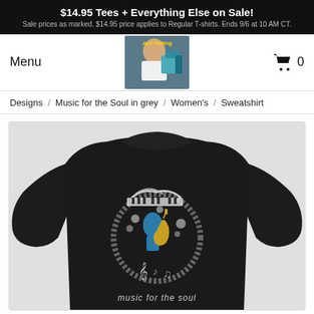$14.95 Tees + Everything Else on Sale! Sale prices as marked. $14.95 price applies to Regular T-shirts. Ends 9/6 at 10 AM CT.
Menu
[Figure (photo): Just Kidding brand logo showing a person with a colorful cube]
0
Designs / Music for the Soul in grey / Women's / Sweatshirt
[Figure (photo): Black women's crewneck sweatshirt with Music for the Soul graphic design featuring musical notes, a figure, and text at the bottom]